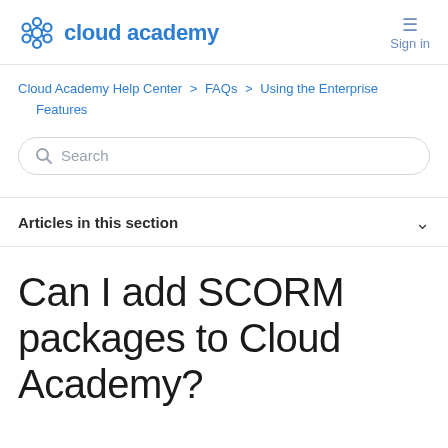cloud academy  Sign in
Cloud Academy Help Center > FAQs > Using the Enterprise Features
[Figure (other): Search input box with magnifying glass icon and placeholder text 'Search']
Articles in this section
Can I add SCORM packages to Cloud Academy?